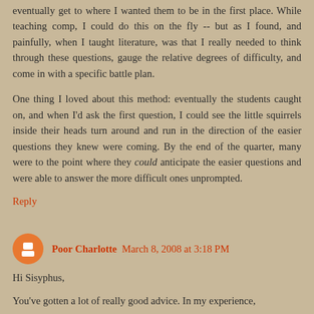eventually get to where I wanted them to be in the first place. While teaching comp, I could do this on the fly -- but as I found, and painfully, when I taught literature, was that I really needed to think through these questions, gauge the relative degrees of difficulty, and come in with a specific battle plan.
One thing I loved about this method: eventually the students caught on, and when I'd ask the first question, I could see the little squirrels inside their heads turn around and run in the direction of the easier questions they knew were coming. By the end of the quarter, many were to the point where they could anticipate the easier questions and were able to answer the more difficult ones unprompted.
Reply
Poor Charlotte  March 8, 2008 at 3:18 PM
Hi Sisyphus,
You've gotten a lot of really good advice. In my experience,